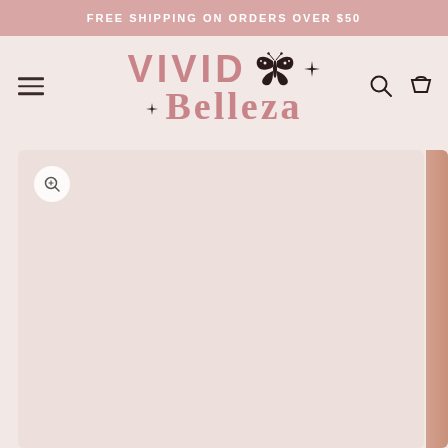FREE SHIPPING ON ORDERS OVER $50
[Figure (logo): Vivid Belleza brand logo with butterfly and sparkle icons, pink/mauve color scheme]
[Figure (photo): Product image area — large light pink/blush empty product gallery placeholder with zoom icon button in top-left corner. Partial product photo visible on the right edge.]